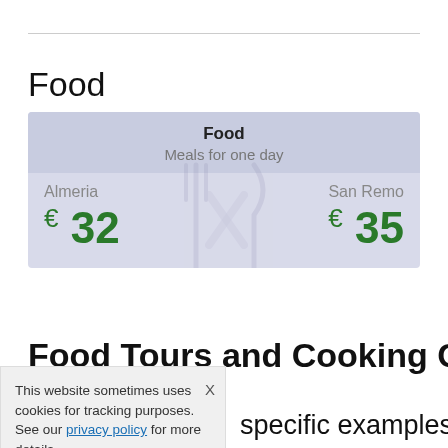Food
| Food |  |
| --- | --- |
| Meals for one day |  |
| Almeria | San Remo |
| € 32 | € 35 |
Food Tours and Cooking Classes in
This website sometimes uses cookies for tracking purposes. See our privacy policy for more details.
specific examples of